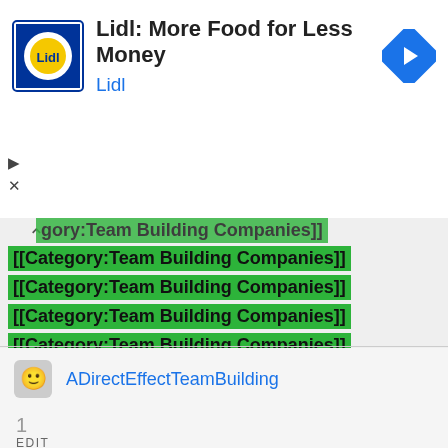[Figure (screenshot): Lidl advertisement banner with Lidl logo, title 'Lidl: More Food for Less Money', subtitle 'Lidl', and a navigation arrow icon on the right. Play and close controls on the left.]
[[Category:Team Building Companies]]
[[Category:Team Building Companies]]
[[Category:Team Building Companies]]
[[Category:Team Building Companies]]
[[Category:Team Building Companies]]
[[Category:Team Building Companies]]
[[Category:Team Building Companies]]
[[Category:Team Building Companies]]
[[Category:Team Building Companies]]
[[Category:Team Building Companies]]
ADirectEffectTeamBuilding
1
EDIT